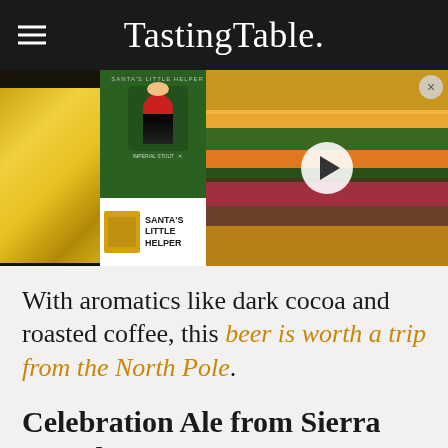Tasting Table.
[Figure (photo): Left side: gold foil gift bag with Santa's Little Helper green beer can/package in background. Right side: closeup of a sandwich/banh mi with video play button overlay.]
With aromatics like dark cocoa and roasted coffee, this beer is worth a trip from the North Pole.
Celebration Ale from Sierra Nevada
[Figure (photo): Multiple Sierra Nevada dark beer bottles with red caps and red labels showing 'FAMILY OWNED', arranged in a group.]